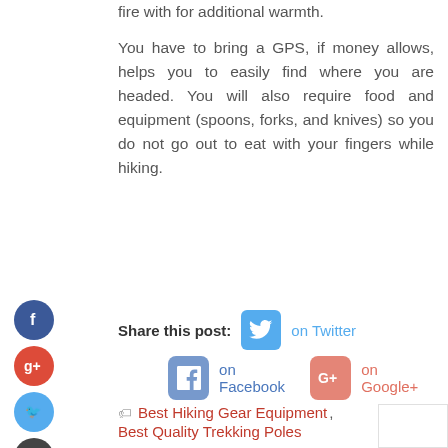fire with for additional warmth.
You have to bring a GPS, if money allows, helps you to easily find where you are headed. You will also require food and equipment (spoons, forks, and knives) so you do not go out to eat with your fingers while hiking.
Share this post:  on Twitter  on Facebook  on Google+
Best Hiking Gear Equipment, Best Quality Trekking Poles